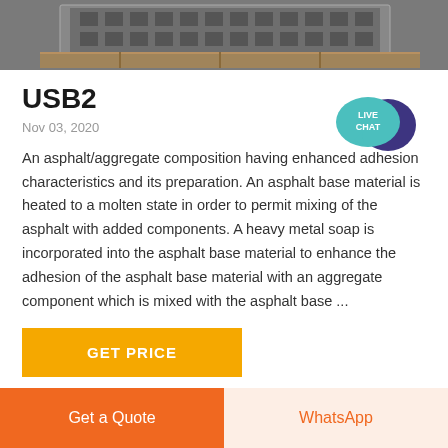[Figure (photo): Industrial equipment or asphalt machinery shown in a photograph at the top of the page.]
USB2
Nov 03, 2020
An asphalt/aggregate composition having enhanced adhesion characteristics and its preparation. An asphalt base material is heated to a molten state in order to permit mixing of the asphalt with added components. A heavy metal soap is incorporated into the asphalt base material to enhance the adhesion of the asphalt base material with an aggregate component which is mixed with the asphalt base ...
[Figure (illustration): Live Chat speech bubble widget in teal/green color with dark blue chat bubble behind it, text reads LIVE CHAT]
GET PRICE
Get a Quote
WhatsApp